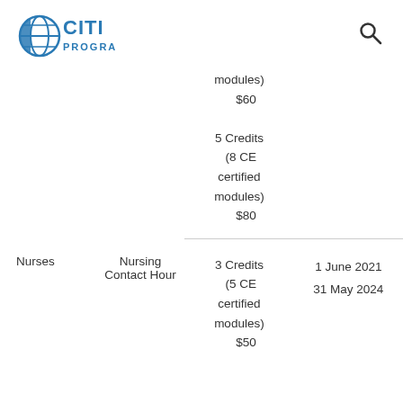[Figure (logo): CITI Program logo with globe icon in blue]
| Audience | Credit Type | Credits / Cost | Dates |
| --- | --- | --- | --- |
|  |  | modules)
$60

5 Credits (8 CE certified modules)
$80 |  |
| Nurses | Nursing Contact Hour | 3 Credits (5 CE certified modules)
$50 | 1 June 2021
31 May 2024 |